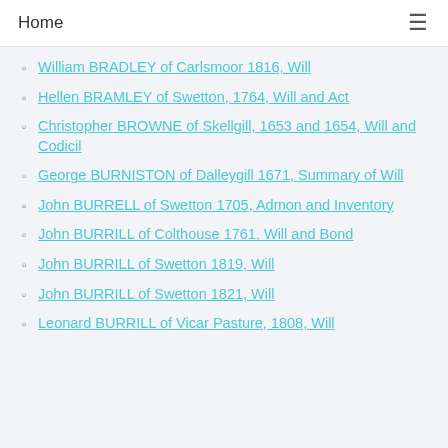Home
William BRADLEY of Carlsmoor 1816, Will
Hellen BRAMLEY of Swetton, 1764, Will and Act
Christopher BROWNE of Skellgill, 1653 and 1654, Will and Codicil
George BURNISTON of Dalleygill 1671, Summary of Will
John BURRELL of Swetton 1705, Admon and Inventory
John BURRILL of Colthouse 1761, Will and Bond
John BURRILL of Swetton 1819, Will
John BURRILL of Swetton 1821, Will
Leonard BURRILL of Vicar Pasture, 1808, Will